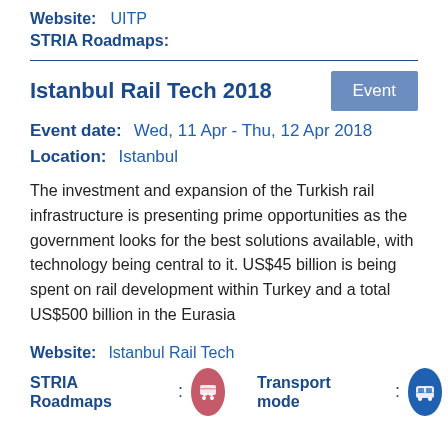Website:   UITP
STRIA Roadmaps:
Istanbul Rail Tech 2018
Event
Event date:   Wed, 11 Apr - Thu, 12 Apr 2018
Location:   Istanbul
The investment and expansion of the Turkish rail infrastructure is presenting prime opportunities as the government looks for the best solutions available, with technology being central to it. US$45 billion is being spent on rail development within Turkey and a total US$500 billion in the Eurasia
Website:   Istanbul Rail Tech
STRIA Roadmaps : [icon] Transport mode : [icon]